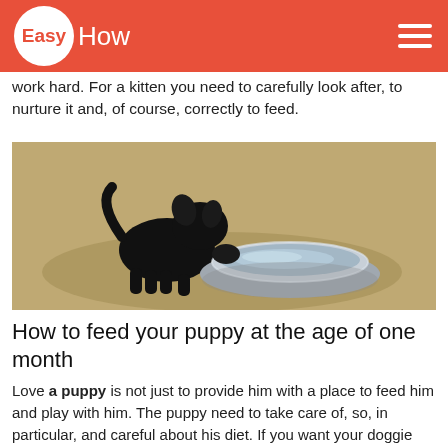EasyHow
work hard. For a kitten you need to carefully look after, to nurture it and, of course, correctly to feed.
[Figure (photo): A small black puppy drinking from a silver metal bowl on dry grass outdoors.]
How to feed your puppy at the age of one month
Love a puppy is not just to provide him with a place to feed him and play with him. The puppy need to take care of, so, in particular, and careful about his diet. If you want your doggie has grown into a healthy, happy and strong dog, be careful what you feed him, give how much food